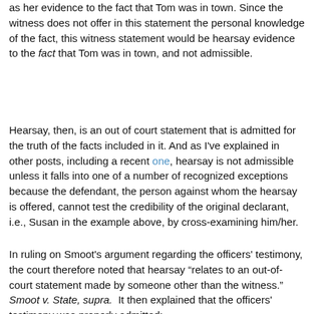as her evidence to the fact that Tom was in town. Since the witness does not offer in this statement the personal knowledge of the fact, this witness statement would be hearsay evidence to the fact that Tom was in town, and not admissible.
Hearsay, then, is an out of court statement that is admitted for the truth of the facts included in it. And as I've explained in other posts, including a recent one, hearsay is not admissible unless it falls into one of a number of recognized exceptions because the defendant, the person against whom the hearsay is offered, cannot test the credibility of the original declarant, i.e., Susan in the example above, by cross-examining him/her.
In ruling on Smoot's argument regarding the officers' testimony, the court therefore noted that hearsay "relates to an out-of-court statement made by someone other than the witness."  Smoot v. State, supra.  It then explained that the officers' testimony was properly admitted: